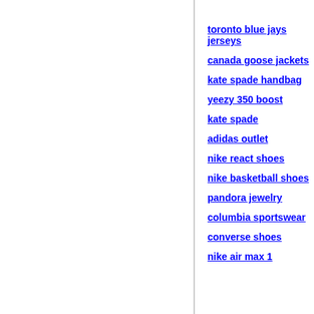toronto blue jays jerseys
canada goose jackets
kate spade handbag
yeezy 350 boost
kate spade
adidas outlet
nike react shoes
nike basketball shoes
pandora jewelry
columbia sportswear
converse shoes
nike air max 1